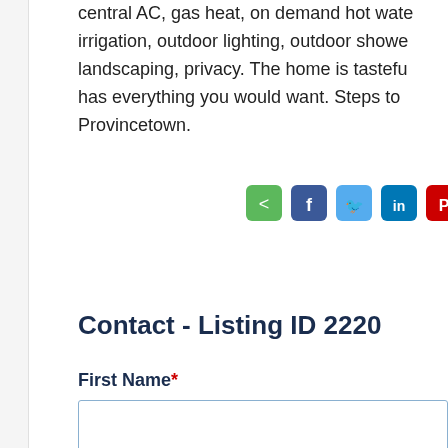central AC, gas heat, on demand hot water, irrigation, outdoor lighting, outdoor shower, landscaping, privacy. The home is tastefully has everything you would want. Steps to Provincetown.
[Figure (infographic): Social sharing buttons: sharethis (green), facebook (blue), twitter (light blue), linkedin (dark blue), pinterest (red)]
Contact - Listing ID 2220
First Name*
Email Address*